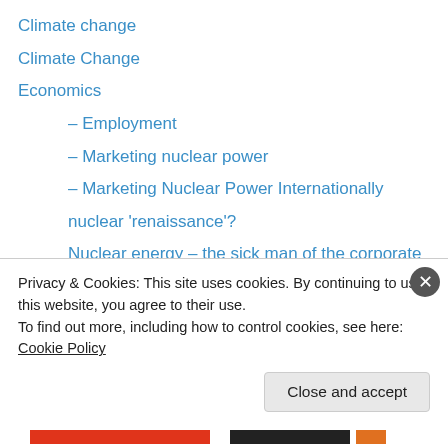Climate change
Climate Change
Economics
– Employment
– Marketing nuclear power
– Marketing Nuclear Power Internationally
nuclear 'renaissance'?
Nuclear energy – the sick man of the corporate world
Energy
– Solar energy
Environment
– Nuclear Power and the Tragedy of the Commons
– Water
Privacy & Cookies: This site uses cookies. By continuing to use this website, you agree to their use.
To find out more, including how to control cookies, see here: Cookie Policy